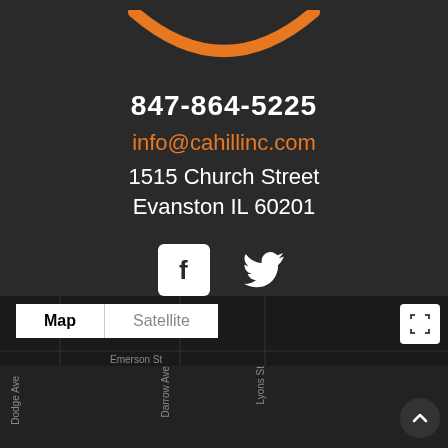[Figure (logo): Orange arc/logo element at top]
847-864-5225
info@cahillinc.com
1515 Church Street
Evanston IL 60201
[Figure (illustration): Facebook and Twitter social media icons]
[Figure (map): Google Maps embed showing Evanston IL area with Map/Satellite toggle, street labels (Dodge Ave, Darrow Ave, Lyons St, Emerson St, Ashland Ave, Wesley Ave), fullscreen button, and scroll-up button]